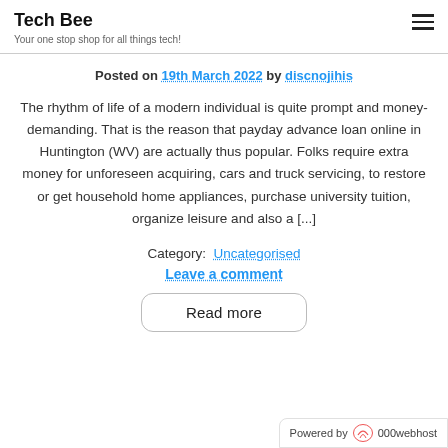Tech Bee
Your one stop shop for all things tech!
Posted on 19th March 2022 by discnojihis
The rhythm of life of a modern individual is quite prompt and money-demanding. That is the reason that payday advance loan online in Huntington (WV) are actually thus popular. Folks require extra money for unforeseen acquiring, cars and truck servicing, to restore or get household home appliances, purchase university tuition, organize leisure and also a [...]
Category: Uncategorised
Leave a comment
Read more
Powered by 000webhost